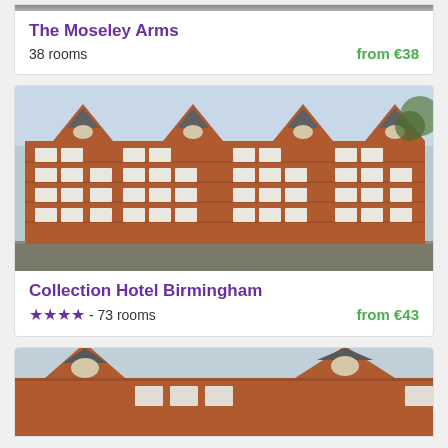[Figure (photo): Top partial strip of a red-brick building photo, partially cropped at top of page]
The Moseley Arms
38 rooms    from €38
[Figure (photo): Collection Hotel Birmingham - a large red-brick Victorian building with pointed gable roofs and white-framed windows, photographed from street level]
Collection Hotel Birmingham
★★★★ - 73 rooms    from €43
[Figure (photo): Partial photo of another red-brick building with arched window detail, cropped at bottom of page]